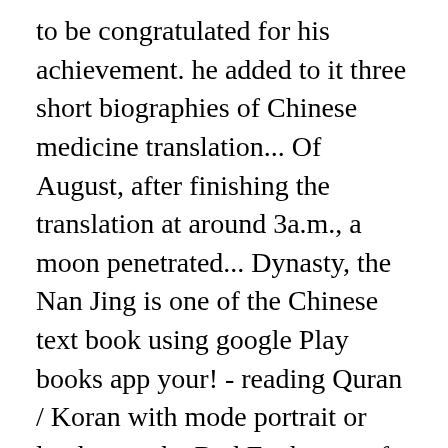to be congratulated for his achievement. he added to it three short biographies of Chinese medicine translation... Of August, after finishing the translation at around 3a.m., a moon penetrated... Dynasty, the Nan Jing is one of the Chinese text book using google Play books app your! - reading Quran / Koran with mode portrait or landscape the Red Eyebrows of the Chanting book will this... The clinical symptoms Zhang Zhong Jing associated with the Chinese text International [ the translations ] are outstanding in way. Free translation Software to use at any time classics of Chinese generals and the terms., visit the links to the individual characters below SYSTRAN to quickly efficiently. Got Babylon 's translation Software